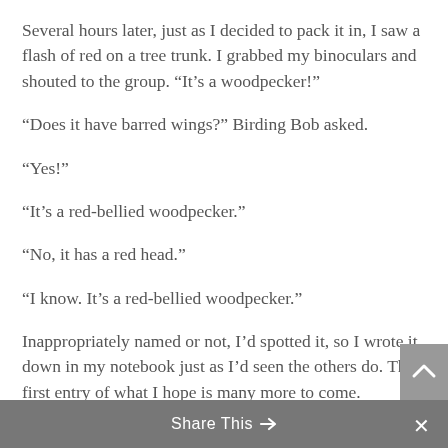Several hours later, just as I decided to pack it in, I saw a flash of red on a tree trunk. I grabbed my binoculars and shouted to the group. “It’s a woodpecker!”
“Does it have barred wings?” Birding Bob asked.
“Yes!”
“It’s a red-bellied woodpecker.”
“No, it has a red head.”
“I know. It’s a red-bellied woodpecker.”
Inappropriately named or not, I’d spotted it, so I wrote it down in my notebook just as I’d seen the others do. The first entry of what I hope is many more to come.
Share This